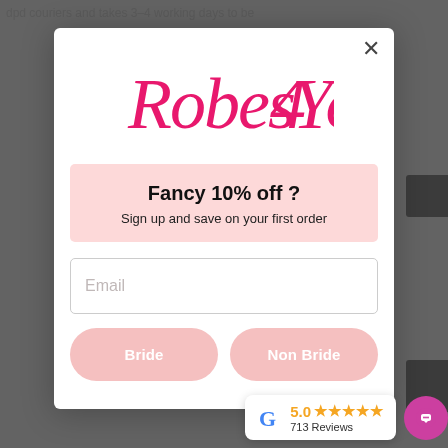dpd couriers and takes 3–4 working days to be
[Figure (screenshot): Modal popup for Robes4You website with logo, discount offer, email field, and Bride/Non Bride buttons]
Fancy 10% off ?
Sign up and save on your first order
Email (placeholder)
Bride
Non Bride
5.0 ★★★★★ 713 Reviews